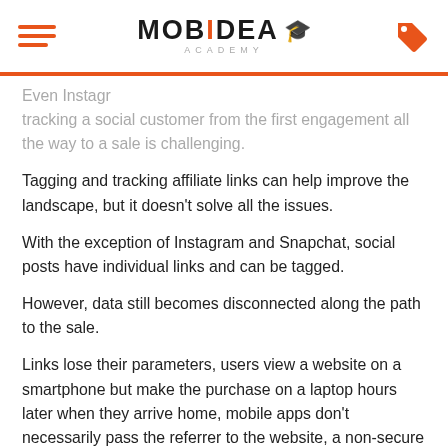MOBIDEA ACADEMY
Even Instagrams may know how to craft an effective post, tracking a social customer from the first engagement all the way to a sale is challenging.
Tagging and tracking affiliate links can help improve the landscape, but it doesn't solve all the issues.
With the exception of Instagram and Snapchat, social posts have individual links and can be tagged.
However, data still becomes disconnected along the path to the sale.
Links lose their parameters, users view a website on a smartphone but make the purchase on a laptop hours later when they arrive home, mobile apps don't necessarily pass the referrer to the website, a non-secure URL fails to pass on